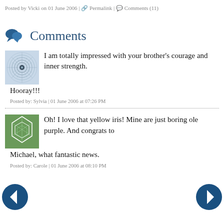Posted by Vicki on 01 June 2006 | Permalink | Comments (11)
Comments
I am totally impressed with your brother's courage and inner strength. Hooray!!!
Posted by: Sylvia | 01 June 2006 at 07:26 PM
Oh! I love that yellow iris! Mine are just boring ole purple. And congrats to Michael, what fantastic news.
Posted by: Carole | 01 June 2006 at 08:10 PM